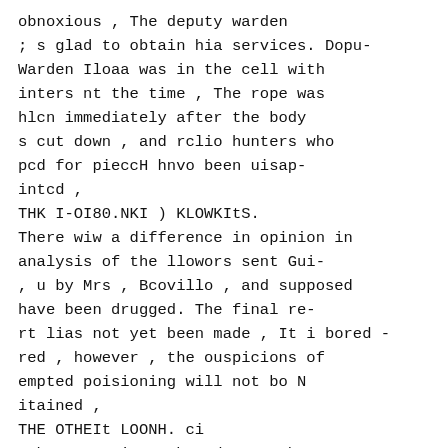obnoxious , The deputy warden ; s glad to obtain hia services. Dopu-Warden Iloaa was in the cell with inters nt the time , The rope was hlcn immediately after the body s cut down , and rclio hunters who pcd for pieccH hnvo been uisap-intcd , THK I-OI80.NKI ) KLOWKItS. There wiw a difference in opinion in analysis of the llowors sent Gui-, u by Mrs , Bcovillo , and supposed have been drugged. The final re-rt lias not yet been made , It i bored - red , however , the ouspicions of empted poisioning will not bo N itained , THE OTHEIt LOONH. ci John W , Guiteau has done much bio ia bli o the oti